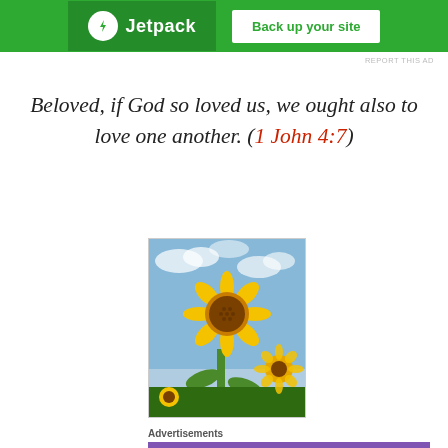[Figure (screenshot): Green Jetpack advertisement banner with bolt icon and 'Back up your site' button]
REPORT THIS AD
Beloved, if God so loved us, we ought also to love one another. (1 John 4:7)
[Figure (photo): A sunflower in full bloom against a partly cloudy sky, with more sunflowers in the background]
Advertisements
[Figure (screenshot): WooCommerce advertisement banner with purple background and white WooCommerce logo]
Advertisements